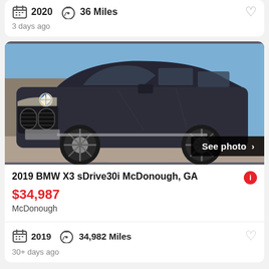2020   36 Miles
3 days ago
[Figure (photo): Dark gray BMW X3 SUV photographed from front-right angle outdoors with rocky terrain in background. 'See photo >' button overlay in bottom right.]
2019 BMW X3 sDrive30i McDonough, GA
$34,987
McDonough
2019   34,982 Miles
30+ days ago